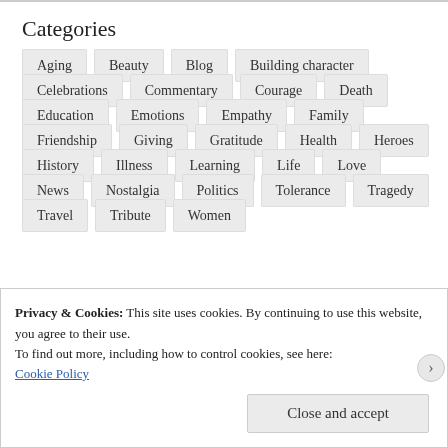Categories
Aging
Beauty
Blog
Building character
Celebrations
Commentary
Courage
Death
Education
Emotions
Empathy
Family
Friendship
Giving
Gratitude
Health
Heroes
History
Illness
Learning
Life
Love
News
Nostalgia
Politics
Tolerance
Tragedy
Travel
Tribute
Women
Privacy & Cookies: This site uses cookies. By continuing to use this website, you agree to their use.
To find out more, including how to control cookies, see here:
Cookie Policy
Close and accept